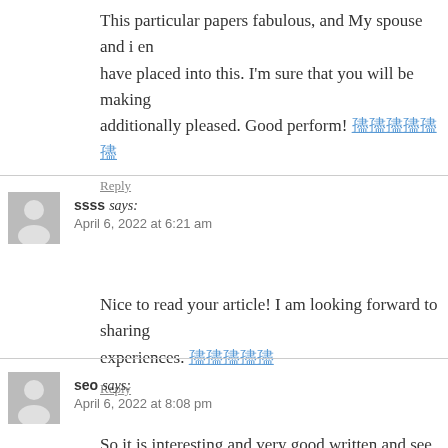This particular papers fabulous, and My spouse and i enjoy the effort you have placed into this. I'm sure that you will be making additionally pleased. Good perform! [link]
Reply
ssss says:
April 6, 2022 at 6:21 am
Nice to read your article! I am looking forward to sharing your experiences. [link]
Reply
seo says:
April 6, 2022 at 8:08 pm
So it is interesting and very good written and see what